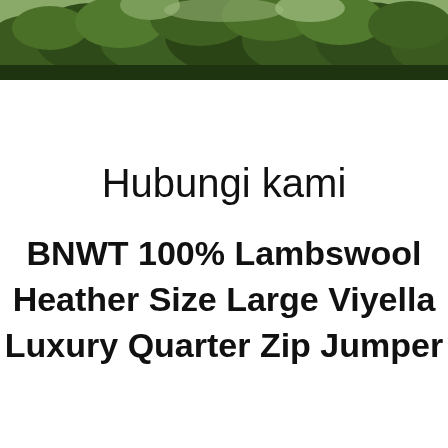[Figure (photo): Outdoor nature photo banner showing dense green foliage and trees at the top of the page]
Hubungi kami
BNWT 100% Lambswool Heather Size Large Viyella Luxury Quarter Zip Jumper